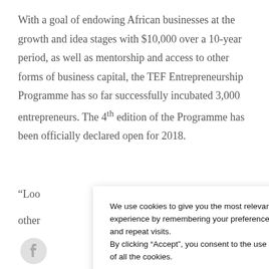With a goal of endowing African businesses at the growth and idea stages with $10,000 over a 10-year period, as well as mentorship and access to other forms of business capital, the TEF Entrepreneurship Programme has so far successfully incubated 3,000 entrepreneurs. The 4th edition of the Programme has been officially declared open for 2018.
“Loo[king to lift othe[rs...
We use cookies to give you the most relevant experience by remembering your preferences and repeat visits. By clicking “Accept”, you consent to the use of all the cookies.
Cookie settings | ACCEPT
E THIS